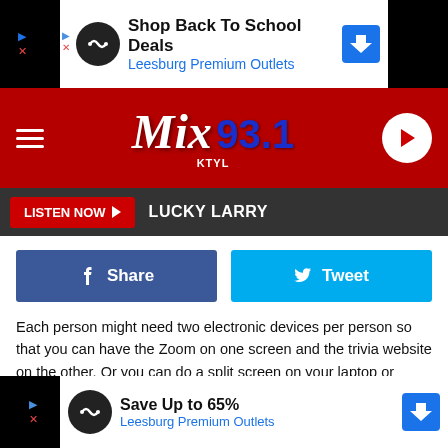[Figure (screenshot): Top advertisement banner: Shop Back To School Deals - Leesburg Premium Outlets]
[Figure (logo): Mix 93.1 KTYL radio station header with hamburger menu and play button]
[Figure (screenshot): Navigation bar with LISTEN NOW button and LUCKY LARRY text]
[Figure (screenshot): Facebook Share and Twitter Tweet social buttons]
Each person might need two electronic devices per person so that you can have the Zoom on one screen and the trivia website on the other. Or you can do a split screen on your laptop or tablet so that you can see both. The website will tally up the scores for you and show the leaderboard at the end of each round. Tiara read us the questions and played old sch ped in our ans site for
[Figure (screenshot): Bottom advertisement banner: Save Up to 65% - Leesburg Premium Outlets]